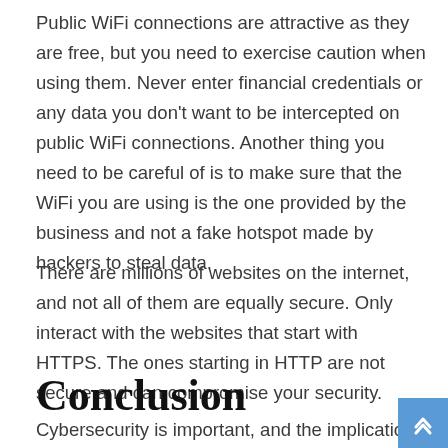Public WiFi connections are attractive as they are free, but you need to exercise caution when using them. Never enter financial credentials or any data you don't want to be intercepted on public WiFi connections. Another thing you need to be careful of is to make sure that the WiFi you are using is the one provided by the business and not a fake hotspot made by hackers to steal data.
There are millions of websites on the internet, and not all of them are equally secure. Only interact with the websites that start with HTTPS. The ones starting in HTTP are not secure and can compromise your security.
Conclusion
Cybersecurity is important, and the implications of not taking care of it are grave. If you want to be secure online,